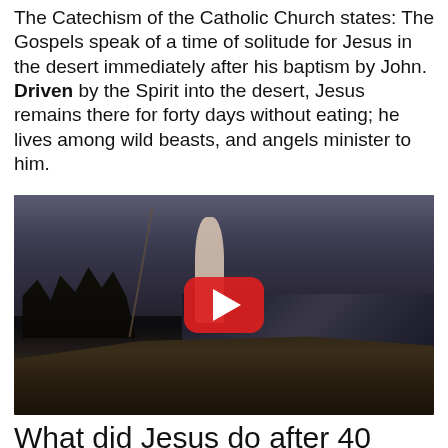The Catechism of the Catholic Church states: The Gospels speak of a time of solitude for Jesus in the desert immediately after his baptism by John. Driven by the Spirit into the desert, Jesus remains there for forty days without eating; he lives among wild beasts, and angels minister to him.
[Figure (screenshot): YouTube video thumbnail showing a cinematic scene of a boat with several silhouetted figures and a standing figure in white robes, with a YouTube play button overlay]
What did Jesus do after 40